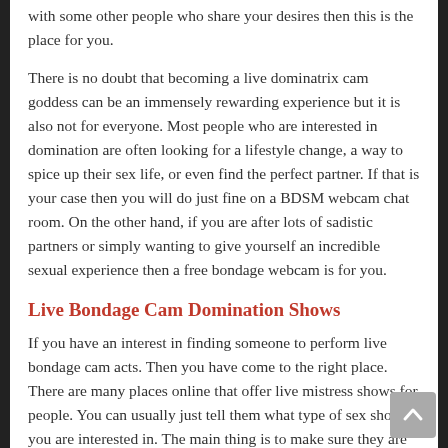with some other people who share your desires then this is the place for you.
There is no doubt that becoming a live dominatrix cam goddess can be an immensely rewarding experience but it is also not for everyone. Most people who are interested in domination are often looking for a lifestyle change, a way to spice up their sex life, or even find the perfect partner. If that is your case then you will do just fine on a BDSM webcam chat room. On the other hand, if you are after lots of sadistic partners or simply wanting to give yourself an incredible sexual experience then a free bondage webcam is for you.
Live Bondage Cam Domination Shows
If you have an interest in finding someone to perform live bondage cam acts. Then you have come to the right place. There are many places online that offer live mistress shows for people. You can usually just tell them what type of sex show you are interested in. The main thing is to make sure they are experienced and